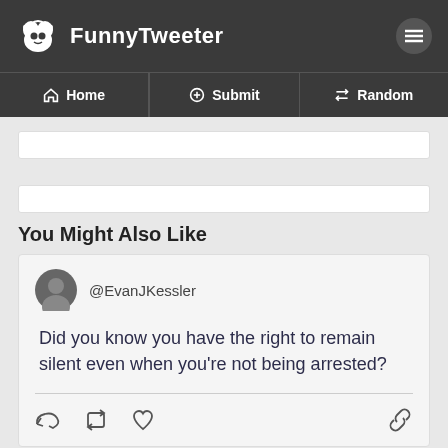FunnyTweeter
Home | Submit | Random
You Might Also Like
@EvanJKessler

Did you know you have the right to remain silent even when you're not being arrested?